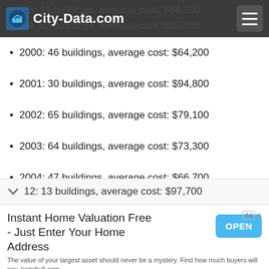City-Data.com
1998: 49 buildings, average cost: $64,200
1999: 52 buildings, average cost: $65,000
2000: 46 buildings, average cost: $64,200
2001: 30 buildings, average cost: $94,800
2002: 65 buildings, average cost: $79,100
2003: 64 buildings, average cost: $73,300
2004: 47 buildings, average cost: $66,700
2005: 83 buildings, average cost: $55,400
2006: 39 buildings, average cost: $73,500
2007: 23 buildings, average cost: $95,700
2008: 18 buildings, average cost: $112,900
2009: 15 buildings, average cost: $77,500
2010: 15 buildings, average cost: $101,200
2011: 16 buildings, average cost: $151,100
2012: 13 buildings, average cost: $97,700
Instant Home Valuation Free - Just Enter Your Home Address
The value of your largest asset should never be a mystery. Find how much buyers will pay. kerishull.com